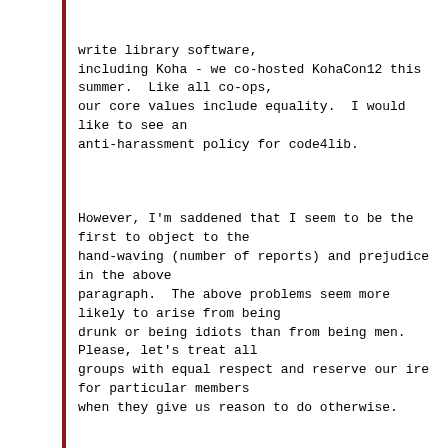write library software,
including Koha - we co-hosted KohaCon12 this
summer.  Like all co-ops,
our core values include equality.  I would
like to see an
anti-harassment policy for code4lib.
However, I'm saddened that I seem to be the
first to object to the
hand-waving (number of reports) and prejudice
in the above
paragraph.  The above problems seem more
likely to arise from being
drunk or being idiots than from being men.
Please, let's treat all
groups with equal respect and reserve our ire
for particular members
when they give us reason to do otherwise.
The anti-harassment policy should not be
developed from a we need to
kick men into line standpoint.  As such, I
suggest